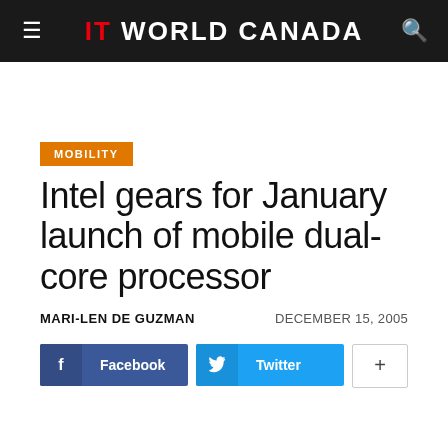IT WORLD CANADA
MOBILITY
Intel gears for January launch of mobile dual-core processor
MARI-LEN DE GUZMAN    DECEMBER 15, 2005
Facebook  Twitter  +